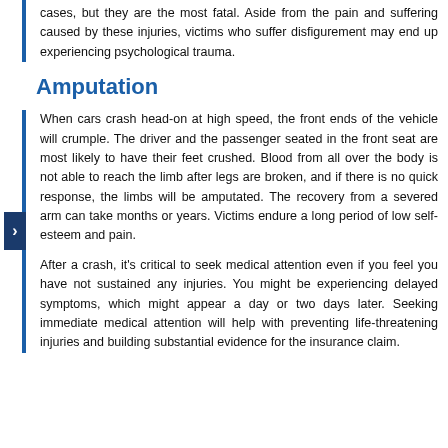cases, but they are the most fatal. Aside from the pain and suffering caused by these injuries, victims who suffer disfigurement may end up experiencing psychological trauma.
Amputation
When cars crash head-on at high speed, the front ends of the vehicle will crumple. The driver and the passenger seated in the front seat are most likely to have their feet crushed. Blood from all over the body is not able to reach the limb after legs are broken, and if there is no quick response, the limbs will be amputated. The recovery from a severed arm can take months or years. Victims endure a long period of low self-esteem and pain.
After a crash, it's critical to seek medical attention even if you feel you have not sustained any injuries. You might be experiencing delayed symptoms, which might appear a day or two days later. Seeking immediate medical attention will help with preventing life-threatening injuries and building substantial evidence for the insurance claim.